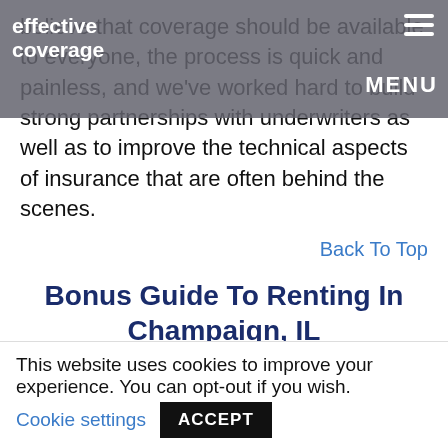effective coverage
believe that coverage should be available to everyone, the process is quick and painless, and we've worked hard to build strong partnerships with underwriters as well as to improve the technical aspects of insurance that are often behind the scenes.
Back To Top
Bonus Guide To Renting In Champaign, IL
While it's easy to insure your apartment in
This website uses cookies to improve your experience. You can opt-out if you wish. Cookie settings ACCEPT